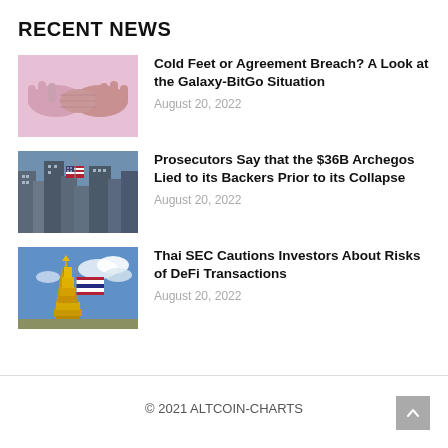RECENT NEWS
[Figure (illustration): Pink-toned illustration of two hands shaking]
Cold Feet or Agreement Breach? A Look at the Galaxy-BitGo Situation
August 20, 2022
[Figure (photo): Photo of city skyscrapers with American flag]
Prosecutors Say that the $36B Archegos Lied to its Backers Prior to its Collapse
August 20, 2022
[Figure (photo): Photo of Thai golden temple spire with Thai flag and blue sky]
Thai SEC Cautions Investors About Risks of DeFi Transactions
August 20, 2022
© 2021 ALTCOIN-CHARTS